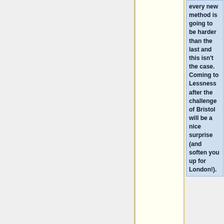every new method is going to be harder than the last and this isn't the case. Coming to Lessness after the challenge of Bristol will be a nice surprise (and soften you up for London!).
====Alternative pathways and stepping stones====
If Cambridge
If Cambridge